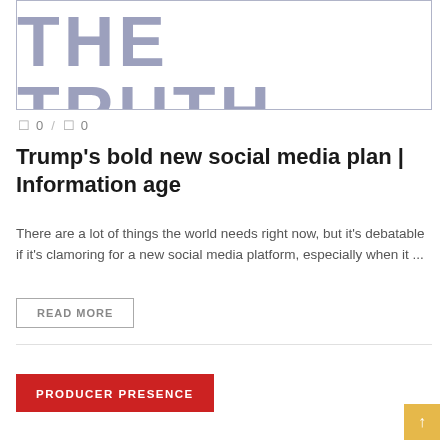[Figure (illustration): Partially visible text reading 'THE TRUTH' in large bold grey letters inside a bordered box]
0 / 0
Trump's bold new social media plan | Information age
There are a lot of things the world needs right now, but it's debatable if it's clamoring for a new social media platform, especially when it ...
READ MORE
PRODUCER PRESENCE